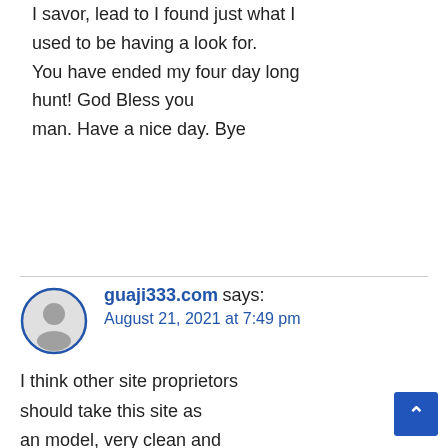I savor, lead to I found just what I used to be having a look for. You have ended my four day long hunt! God Bless you man. Have a nice day. Bye
guaji333.com says:
August 21, 2021 at 7:49 pm
I think other site proprietors should take this site as an model, very clean and magnificent user friendly style and design, as well as the content.